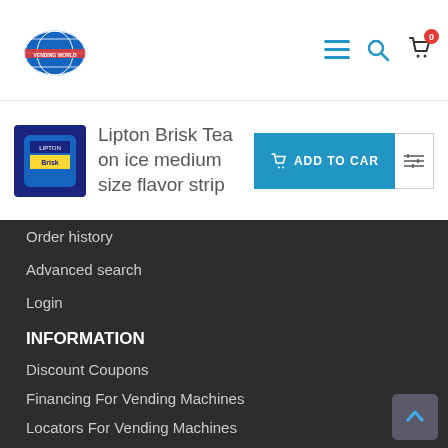[Figure (logo): Vending World logo with globe icon]
Lipton Brisk Tea on ice medium size flavor strip
[Figure (photo): Lipton Brisk Tea can product image]
ADD TO CART
Order history
Advanced search
Login
INFORMATION
Discount Coupons
Financing For Vending Machines
Locators For Vending Machines
Manuals For Vending Machines
Movers (Southern Califonria)
Vending Machine Repairs